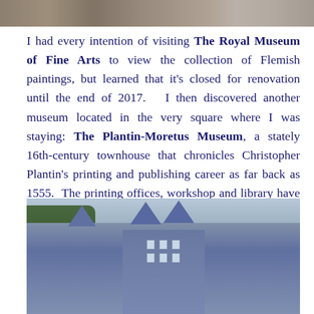[Figure (photo): Partial top strip photo showing people at what appears to be an outdoor market or street scene]
I had every intention of visiting The Royal Museum of Fine Arts to view the collection of Flemish paintings, but learned that it's closed for renovation until the end of 2017.  I then discovered another museum located in the very square where I was staying: The Plantin-Moretus Museum, a stately 16th-century townhouse that chronicles Christopher Plantin's printing and publishing career as far back as 1555.  The printing offices, workshop and library have all been preserved in their original state.
[Figure (photo): Courtyard photo of the Plantin-Moretus Museum, a 16th-century brick townhouse with stepped gable roofs, multiple windows, and trees on the left side]